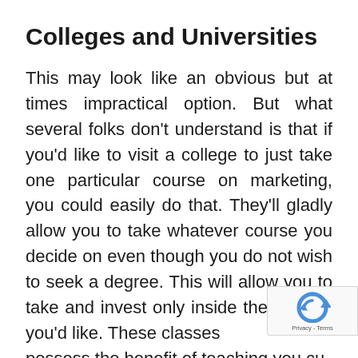Colleges and Universities
This may look like an obvious but at times impractical option. But what several folks don't understand is that if you'd like to visit a college to just take one particular course on marketing, you could easily do that. They'll gladly allow you to take whatever course you decide on even though you do not wish to seek a degree. This will allow you to take and invest only inside the classes you'd like. These classes possess the benefit of teaching you cu edge strategies from people that have